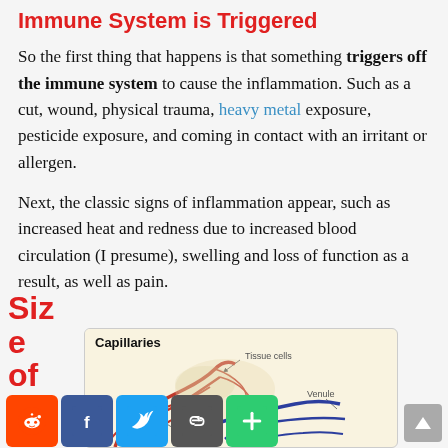Immune System is Triggered
So the first thing that happens is that something triggers off the immune system to cause the inflammation. Such as a cut, wound, physical trauma, heavy metal exposure, pesticide exposure, and coming in contact with an irritant or allergen.
Next, the classic signs of inflammation appear, such as increased heat and redness due to increased blood circulation (I presume), swelling and loss of function as a result, as well as pain.
Siz
e
of
[Figure (illustration): Diagram showing Capillaries with labeled parts: Tissue cells, Arteriole, Venule. Red and blue vessel network on a beige background.]